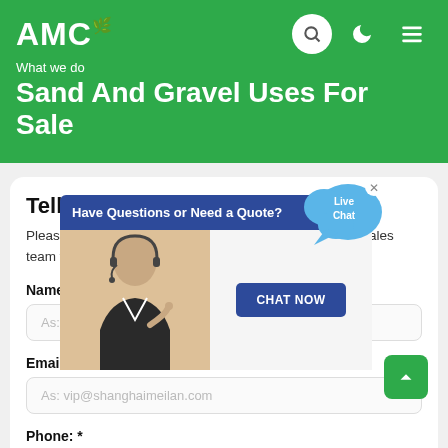AMC
What we do
Sand And Gravel Uses For Sale
Tell us what you are looking for?
Please complete and submit the following form, and our sales team will contact you shortly with our best prices.
[Figure (screenshot): Live chat popup overlay with 'Have Questions or Need a Quote?' header bar, photo of woman with headset, CHAT NOW button, and Live Chat speech bubble]
Name: *
As: Tom
Email: *
As: vip@shanghaimeilan.com
Phone: *
With Country Code